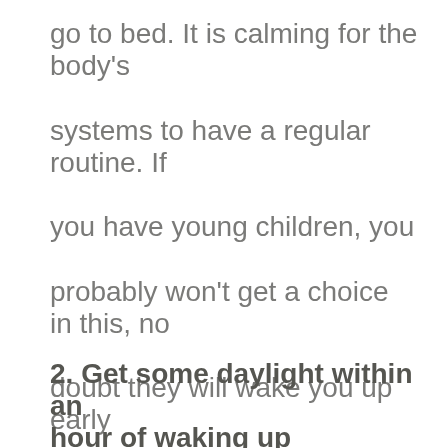go to bed. It is calming for the body's systems to have a regular routine. If you have young children, you probably won't get a choice in this, no doubt they will wake you up early each day!
2. Get some daylight within an hour of waking up